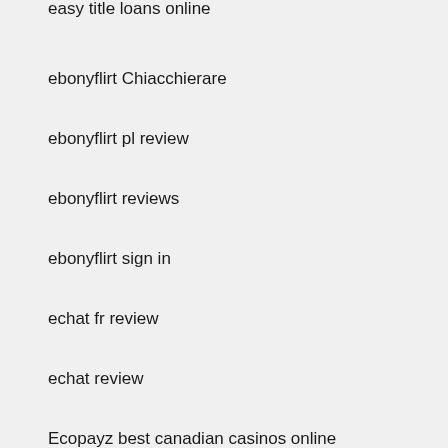easy title loans online
ebonyflirt Chiacchierare
ebonyflirt pl review
ebonyflirt reviews
ebonyflirt sign in
echat fr review
echat review
Ecopayz best canadian casinos online
edarling Chiacchierare
edarling cs review
edarling review
eDarling visitors